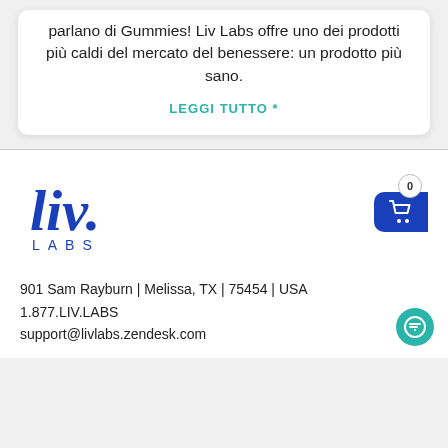parlano di Gummies! Liv Labs offre uno dei prodotti più caldi del mercato del benessere: un prodotto più sano.
LEGGI TUTTO *
[Figure (logo): Liv Labs logo with stylized 'liv.' in bold blue cursive and 'LABS' in spaced blue capitals below]
[Figure (other): Shopping cart icon with badge showing 0]
901 Sam Rayburn | Melissa, TX | 75454 | USA
1.877.LIV.LABS
support@livlabs.zendesk.com
[Figure (other): Teal chat button icon in bottom right corner]